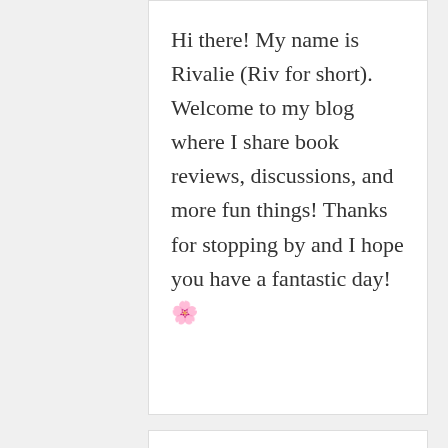Hi there! My name is Rivalie (Riv for short). Welcome to my blog where I share book reviews, discussions, and more fun things! Thanks for stopping by and I hope you have a fantastic day! 🌸
SOCIALS
[Figure (illustration): Row of six social media icon circles: Instagram, Goodreads, Twitter, YouTube, Tumblr, Pinterest]